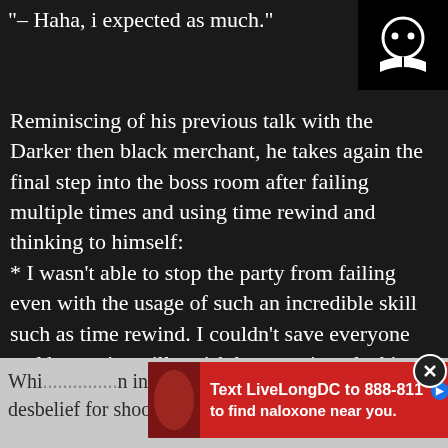"– Haha, i expected as much."
[Figure (illustration): App or website logo: round face icon with dot eyes on black background with open book below, on black square]
Reminiscing of his previous talk with the Darker then black merchant, he takes again the final step into the boss room after failing multiple times and using time rewind and thinking to himself:
* I wasn't able to stop the party from failing even with the usage of such an incredible skill such as time rewind. I couldn't save everyone and humanity will perish because i am lacking in strenght. I have failed.
But maybe, if it's him..*
[Figure (infographic): Red advertisement banner: Text LiveLongDC to 888-811 to find naloxone near you. With play and close buttons and DC Health logo.]
Whi... n in desbelief for shooting his spells towards his